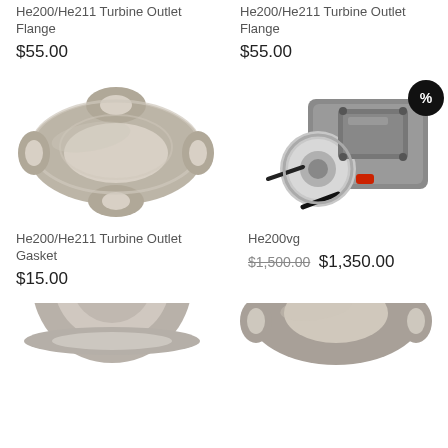He200/He211 Turbine Outlet Flange
$55.00
He200/He211 Turbine Outlet Flange
$55.00
[Figure (photo): He200/He211 Turbine Outlet Gasket - metallic gasket part]
[Figure (photo): He200vg turbocharger assembly with sale badge]
He200/He211 Turbine Outlet Gasket
$15.00
He200vg
$1,500.00 $1,350.00
[Figure (photo): Partial bottom image left - circular part]
[Figure (photo): Partial bottom image right - gasket part]